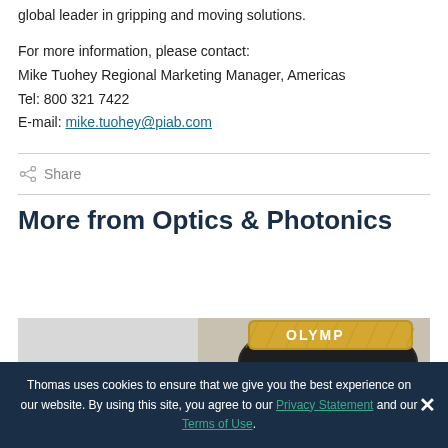global leader in gripping and moving solutions.
For more information, please contact:
Mike Tuohey Regional Marketing Manager, Americas
Tel: 800 321 7422
E-mail: mike.tuohey@piab.com
Share
More from Optics & Photonics
[Figure (photo): Close-up photo of an Olympus lens/objective, gold and dark metallic finish, on a grey background]
Thomas uses cookies to ensure that we give you the best experience on our website. By using this site, you agree to our Privacy Statement and our Terms of Use.